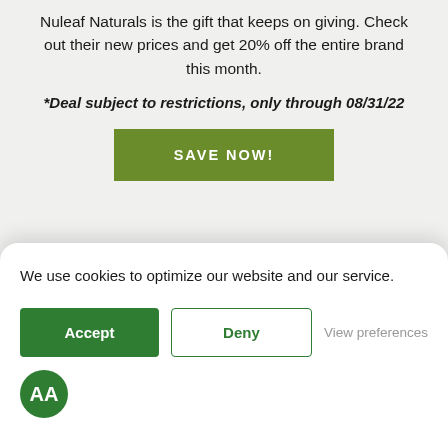Nuleaf Naturals is the gift that keeps on giving. Check out their new prices and get 20% off the entire brand this month.
*Deal subject to restrictions, only through 08/31/22
[Figure (photo): A green button labeled SAVE NOW! for a promotional deal]
[Figure (photo): Product bottles (CBD oil dropper bottles) on a dark green background with leaf graphics]
We use cookies to optimize our website and our service.
Accept
Deny
View preferences